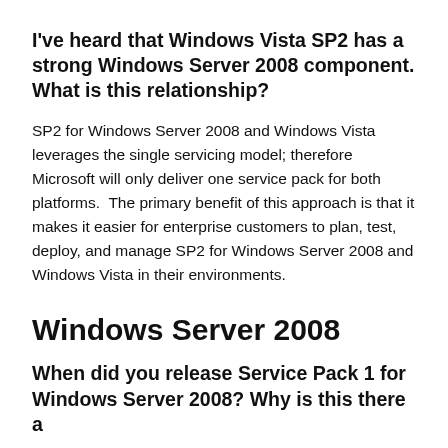I've heard that Windows Vista SP2 has a strong Windows Server 2008 component. What is this relationship?
SP2 for Windows Server 2008 and Windows Vista leverages the single servicing model; therefore Microsoft will only deliver one service pack for both platforms.  The primary benefit of this approach is that it makes it easier for enterprise customers to plan, test, deploy, and manage SP2 for Windows Server 2008 and Windows Vista in their environments.
Windows Server 2008
When did you release Service Pack 1 for Windows Server 2008? Why is this there a